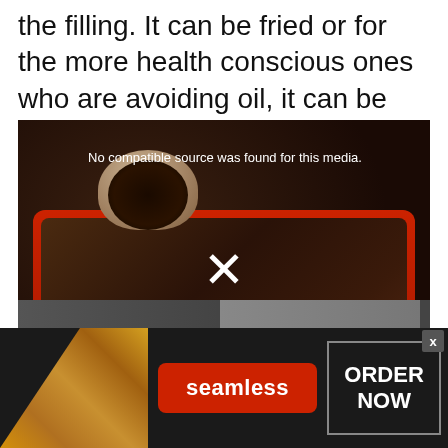the filling. It can be fried or for the more health conscious ones who are avoiding oil, it can be baked too.
[Figure (photo): Video player showing cooking scene: a red pot with meat chunks and a bowl pouring dark liquid (sauce) into it. Overlay text reads 'No compatible source was found for this media.' with an X button.]
[Figure (photo): Advertisement banner for Seamless food delivery. Left side shows pizza image, center has red 'seamless' button, right has 'ORDER NOW' button with border, and an X close button.]